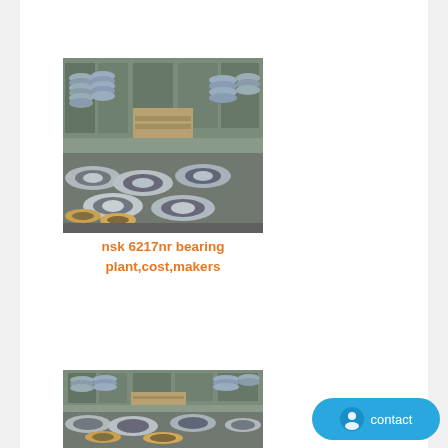[Figure (photo): Industrial warehouse scene showing large quantities of stacked ball bearings and bearing rings on shelves and pallets.]
nsk 6217nr bearing plant,cost,makers
[Figure (photo): Second industrial warehouse scene with stacked ball bearings and rings on pallets, similar to the first image.]